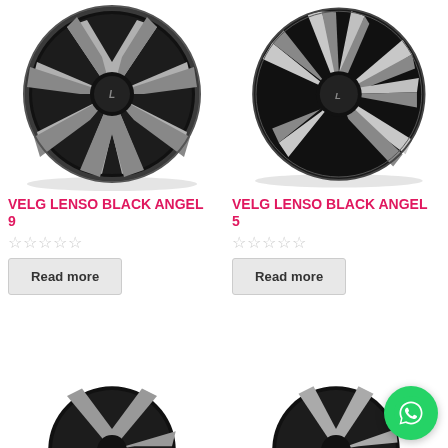[Figure (photo): Lenso Black Angel 9 wheel - black alloy rim with machined spokes]
[Figure (photo): Lenso Black Angel 5 wheel - black alloy rim with machined angular spokes]
VELG LENSO BLACK ANGEL 9
VELG LENSO BLACK ANGEL 5
Read more
Read more
[Figure (photo): Partial view of another Lenso wheel at bottom left]
[Figure (photo): Partial view of another Lenso wheel at bottom right]
[Figure (other): WhatsApp contact button - green circle with phone icon]